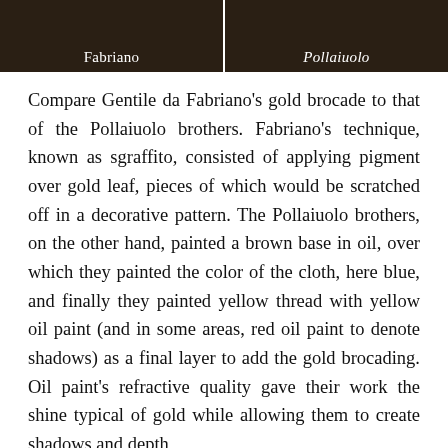[Figure (photo): Two dark-toned artwork detail panels side by side. Left panel labeled 'Fabriano', right panel labeled 'Pollaiuolo'.]
Compare Gentile da Fabriano's gold brocade to that of the Pollaiuolo brothers. Fabriano's technique, known as sgraffito, consisted of applying pigment over gold leaf, pieces of which would be scratched off in a decorative pattern. The Pollaiuolo brothers, on the other hand, painted a brown base in oil, over which they painted the color of the cloth, here blue, and finally they painted yellow thread with yellow oil paint (and in some areas, red oil paint to denote shadows) as a final layer to add the gold brocading. Oil paint's refractive quality gave their work the shine typical of gold while allowing them to create shadows and depth